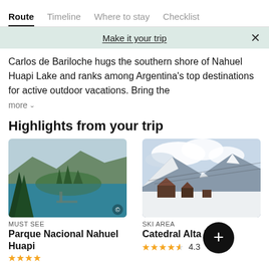Route | Timeline | Where to stay | Checklist
Make it your trip
Carlos de Bariloche hugs the southern shore of Nahuel Huapi Lake and ranks among Argentina's top destinations for active outdoor vacations. Bring the
more
Highlights from your trip
[Figure (photo): Aerial view of Parque Nacional Nahuel Huapi showing a lake with turquoise water, a small peninsula with trees, and mountains in the background]
MUST SEE
Parque Nacional Nahuel Huapi
[Figure (photo): Winter ski area photo showing snow-covered mountain resort, Catedral Alta Patagonia, with buildings and ski slopes]
SKI AREA
Catedral Alta Pata... 4.3 stars